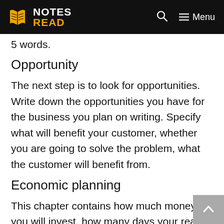NOTES READ [logo] [search] Menu
5 words.
Opportunity
The next step is to look for opportunities. Write down the opportunities you have for the business you plan on writing. Specify what will benefit your customer, whether you are going to solve the problem, what the customer will benefit from.
Economic planning
This chapter contains how much money you will invest, how many days your real money